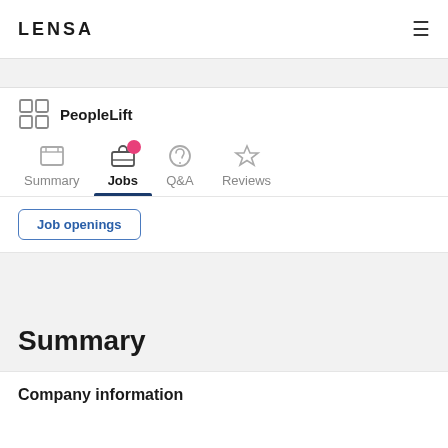LENSA
[Figure (screenshot): Lensa job portal screenshot showing PeopleLift company page with navigation tabs: Summary, Jobs (active, with notification dot), Q&A, Reviews. Job openings button visible. Summary section and Company information heading shown.]
PeopleLift
Summary
Company information